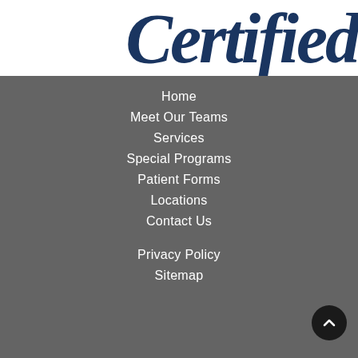[Figure (illustration): Partial cursive/script text in dark navy blue reading 'certified' or similar, cropped at top right]
Home
Meet Our Teams
Services
Special Programs
Patient Forms
Locations
Contact Us
Privacy Policy
Sitemap